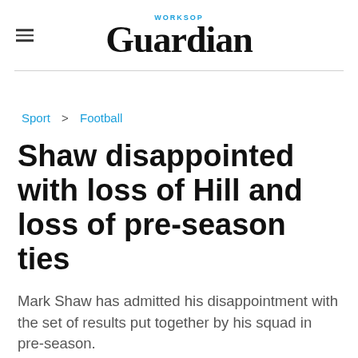WORKSOP Guardian
Sport > Football
Shaw disappointed with loss of Hill and loss of pre-season ties
Mark Shaw has admitted his disappointment with the set of results put together by his squad in pre-season.